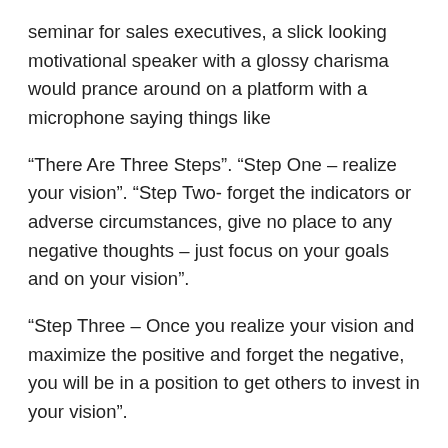seminar for sales executives, a slick looking motivational speaker with a glossy charisma would prance around on a platform with a microphone saying things like
“There Are Three Steps”. “Step One – realize your vision”. “Step Two- forget the indicators or adverse circumstances, give no place to any negative thoughts – just focus on your goals and on your vision”.
“Step Three – Once you realize your vision and maximize the positive and forget the negative, you will be in a position to get others to invest in your vision”.
Thus , this secular psychology gets into the church masquerading as biblical theology. A hype artist preacher will stand up on Sunday and share “his